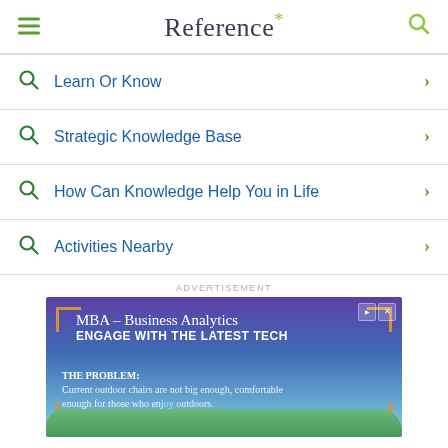Reference*
Learn Or Know
Strategic Knowledge Base
How Can Knowledge Help You in Life
Activities Nearby
ADVERTISEMENT
[Figure (photo): Advertisement banner for MBA – Business Analytics program reading 'ENGAGE WITH THE LATEST TECH' with decorative orange corner brackets, a person in a suit, green hills background, and ad controls. Body text reads: 'THE PROBLEM: Current outdoor chairs are not big enough, comfortable enough for those who enjoy outdoors.']